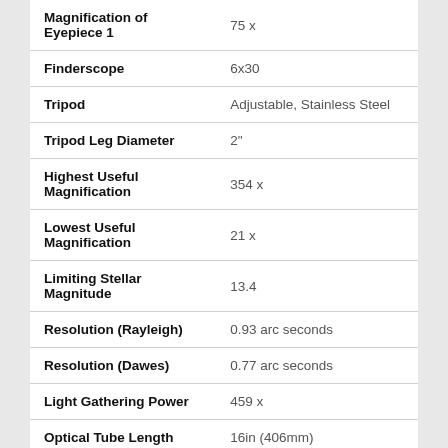| Specification | Value |
| --- | --- |
| Magnification of Eyepiece 1 | 75 x |
| Finderscope | 6x30 |
| Tripod | Adjustable, Stainless Steel |
| Tripod Leg Diameter | 2" |
| Highest Useful Magnification | 354 x |
| Lowest Useful Magnification | 21 x |
| Limiting Stellar Magnitude | 13.4 |
| Resolution (Rayleigh) | 0.93 arc seconds |
| Resolution (Dawes) | 0.77 arc seconds |
| Light Gathering Power | 459 x |
| Optical Tube Length | 16in (406mm) |